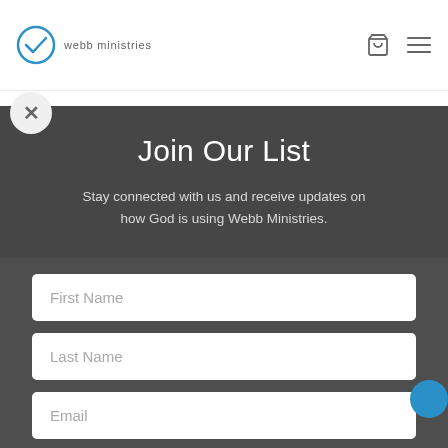[Figure (screenshot): Webb Ministries website header with logo (circle with checkmark), text 'webb ministries', shopping cart icon, and hamburger menu icon on white background]
[Figure (screenshot): Close (X) button — circular grey button in top-left of modal overlay]
Join Our List
Stay connected with us and receive updates on how God is using Webb Ministries.
First Name
Last Name
Email
SUBSCRIBE!